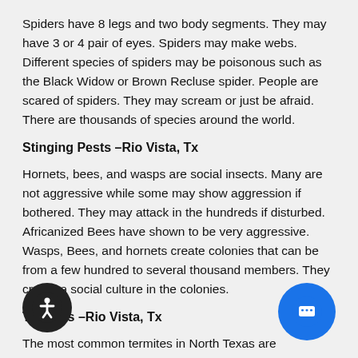Spiders have 8 legs and two body segments. They may have 3 or 4 pair of eyes. Spiders may make webs. Different species of spiders may be poisonous such as the Black Widow or Brown Recluse spider. People are scared of spiders. They may scream or just be afraid. There are thousands of species around the world.
Stinging Pests –Rio Vista, Tx
Hornets, bees, and wasps are social insects. Many are not aggressive while some may show aggression if bothered. They may attack in the hundreds if disturbed. Africanized Bees have shown to be very aggressive. Wasps, Bees, and hornets create colonies that can be from a few hundred to several thousand members. They create a social culture in the colonies.
Termites –Rio Vista, Tx
The most common termites in North Texas are Subterranean Termites. They are ground nesting, living in colonies. They can have from a few hundred to several hundred thousand termites. Termites cause over 5 Billion dollars in damage each year in the United States. Termites can come up...